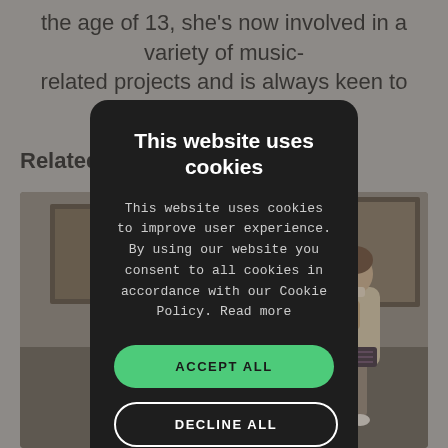the age of 13, she's now involved in a variety of music-related projects and is always keen to share industry
Related
[Figure (photo): Museum interior with two visitors viewed from behind, sitting and standing near artwork on walls]
This website uses cookies
This website uses cookies to improve user experience. By using our website you consent to all cookies in accordance with our Cookie Policy. Read more
ACCEPT ALL
DECLINE ALL
SHOW DETAILS